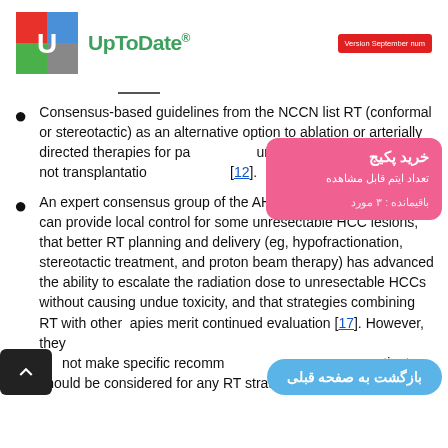UpToDate® — Version September num
Consensus-based guidelines from the NCCN list RT (conformal or stereotactic) as an alternative option to ablation or arterially directed therapies for patients with unresectable HCC who are not transplantation candidates [12].
An expert consensus group of the AHPBA concluded that RT can provide local control for some unresectable HCC lesions, that better RT planning and delivery (eg, hypofractionation, stereotactic treatment, and proton beam therapy) has advanced the ability to escalate the radiation dose to unresectable HCCs without causing undue toxicity, and that strategies combining RT with other therapies merit continued evaluation [17]. However, they did not make specific recommendations about which patients should be considered for any RT strategy.